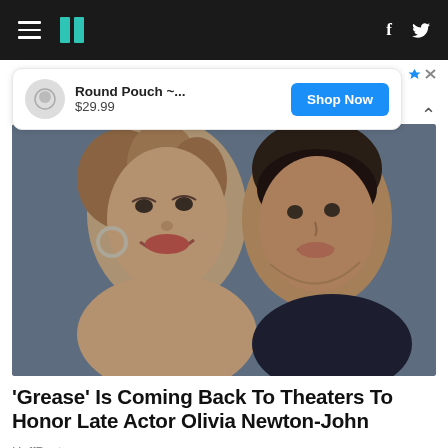HuffPost navigation with hamburger menu, HuffPost logo, Facebook and Twitter icons
[Figure (screenshot): Advertisement banner: Round Pouch ~... $29.99 with Shop Now button]
[Figure (photo): Photo of two actors from Grease - a woman with curly hair and hoop earrings smiling, and a man in black beside her]
'Grease' Is Coming Back To Theaters To Honor Late Actor Olivia Newton-John
HuffPost
[Figure (photo): Partially visible photo of a wall with mold/stains and a gloved hand holding a spray bottle]